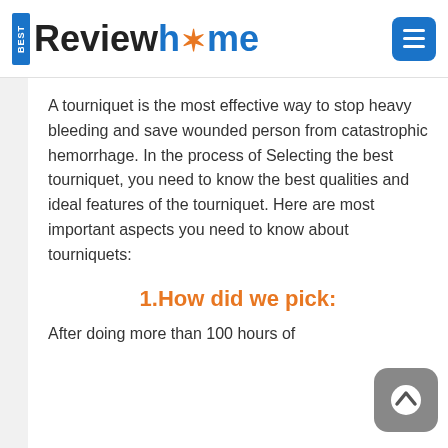BEST Reviewhome
A tourniquet is the most effective way to stop heavy bleeding and save wounded person from catastrophic hemorrhage. In the process of Selecting the best tourniquet, you need to know the best qualities and ideal features of the tourniquet. Here are most important aspects you need to know about tourniquets:
1.How did we pick:
After doing more than 100 hours of